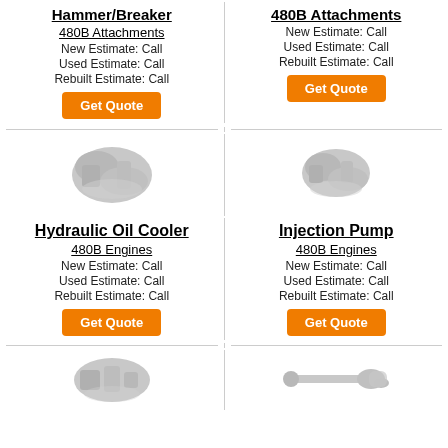Hammer/Breaker
480B Attachments
480B Attachments
New Estimate: Call
Used Estimate: Call
Rebuilt Estimate: Call
Get Quote
480B Attachments
New Estimate: Call
Used Estimate: Call
Rebuilt Estimate: Call
Get Quote
[Figure (photo): Gray engine/part placeholder image left]
[Figure (photo): Gray engine/part placeholder image right]
Hydraulic Oil Cooler
Injection Pump
480B Engines
New Estimate: Call
Used Estimate: Call
Rebuilt Estimate: Call
Get Quote
480B Engines
New Estimate: Call
Used Estimate: Call
Rebuilt Estimate: Call
Get Quote
[Figure (photo): Gray engine block placeholder image bottom left]
[Figure (photo): Gray shaft/rod part placeholder image bottom right]